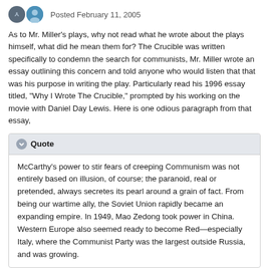Posted February 11, 2005
As to Mr. Miller's plays, why not read what he wrote about the plays himself, what did he mean them for? The Crucible was written specifically to condemn the search for communists, Mr. Miller wrote an essay outlining this concern and told anyone who would listen that that was his purpose in writing the play. Particularly read his 1996 essay titled, "Why I Wrote The Crucible," prompted by his working on the movie with Daniel Day Lewis. Here is one odious paragraph from that essay,
Quote
McCarthy's power to stir fears of creeping Communism was not entirely based on illusion, of course; the paranoid, real or pretended, always secretes its pearl around a grain of fact. From being our wartime ally, the Soviet Union rapidly became an expanding empire. In 1949, Mao Zedong took power in China. Western Europe also seemed ready to become Red—especially Italy, where the Communist Party was the largest outside Russia, and was growing.